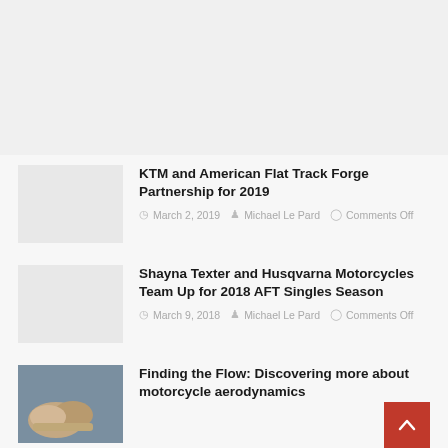[Figure (other): Top advertisement/blank area]
KTM and American Flat Track Forge Partnership for 2019
March 2, 2019  Michael Le Pard  Comments Off
Shayna Texter and Husqvarna Motorcycles Team Up for 2018 AFT Singles Season
March 9, 2018  Michael Le Pard  Comments Off
Finding the Flow: Discovering more about motorcycle aerodynamics